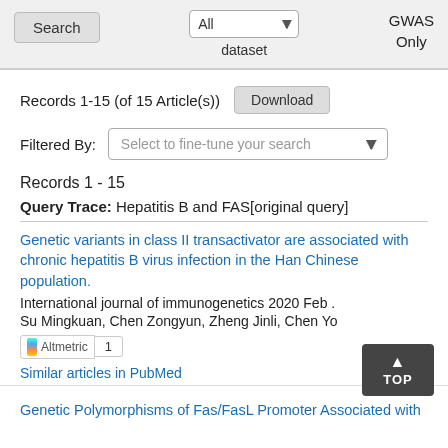[Figure (screenshot): Top search bar UI with Search button, All dataset dropdown, and GWAS Only label]
Records 1-15 (of 15 Article(s))
Download
Filtered By: Select to fine-tune your search
Records 1 - 15
Query Trace: Hepatitis B and FAS[original query]
Genetic variants in class II transactivator are associated with chronic hepatitis B virus infection in the Han Chinese population. International journal of immunogenetics 2020 Feb . Su Mingkuan, Chen Zongyun, Zheng Jinli, Chen Yo
Similar articles in PubMed
Genetic Polymorphisms of Fas/FasL Promoter Associated with